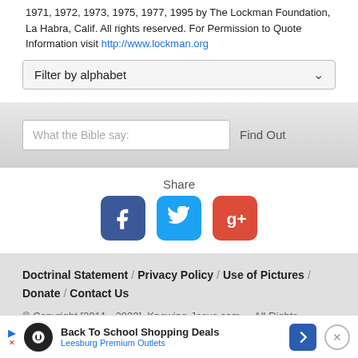1971, 1972, 1973, 1975, 1977, 1995 by The Lockman Foundation, La Habra, Calif. All rights reserved. For Permission to Quote Information visit http://www.lockman.org
Filter by alphabet
[Figure (screenshot): Search bar with placeholder text 'What the Bible say:' and a 'Find Out' button]
Share
[Figure (infographic): Social share icons: Facebook (blue), Twitter (light blue), Google+ (red)]
Doctrinal Statement / Privacy Policy / Use of Pictures / Donate / Contact Us
© Copyright [2011 - 2022] Knowing-Jesus.com - All Rights Reserved
[Figure (screenshot): Advertisement bar: Back To School Shopping Deals - Leesburg Premium Outlets]